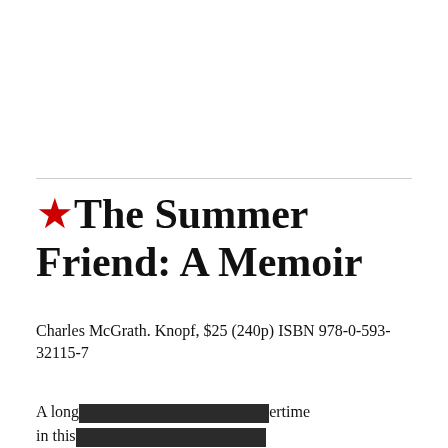★The Summer Friend: A Memoir
Charles McGrath. Knopf, $25 (240p) ISBN 978-0-593-32115-7
A long [redacted] ertime in this [redacted]